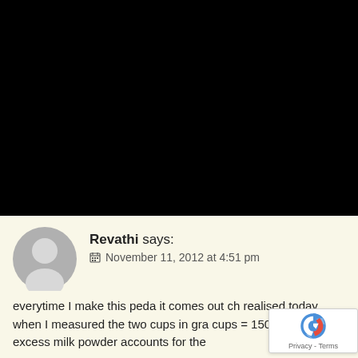[Figure (photo): Black area occupying top portion of page (image content not visible)]
Revathi says:
November 11, 2012 at 4:51 pm

everytime I make this peda it comes out ch... realised today, when I measured the two cups in gra... cups = 150g. and the excess milk powder accounts for the
[Figure (logo): reCAPTCHA badge with Privacy - Terms text]